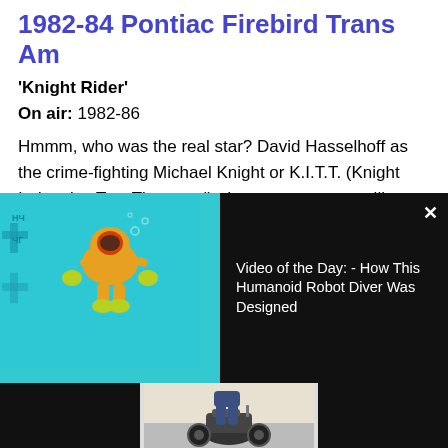1982-84 Pontiac Firebird Trans Am
'Knight Rider'
On air: 1982-86
Hmmm, who was the real star? David Hasselhoff as the crime-fighting Michael Knight or K.I.T.T. (Knight Industries Two Thousand), the computer controlling his flashy black Pontiac Firebird Trans Am T-top. Voiced by William Daniels, the K.I.T.T.-powered Firebird became a phenomenon sought after by superfans.
[Figure (screenshot): Video overlay showing a humanoid robot diver underwater in a pool with aqua/teal water, wearing an orange suit. Right side has black background with text 'Video of the Day: - How This Humanoid Robot Diver Was Designed' and a close button X.]
[Figure (photo): Bottom strip showing partial images: black area on left, a motorcycle with rider in the center, black area on right.]